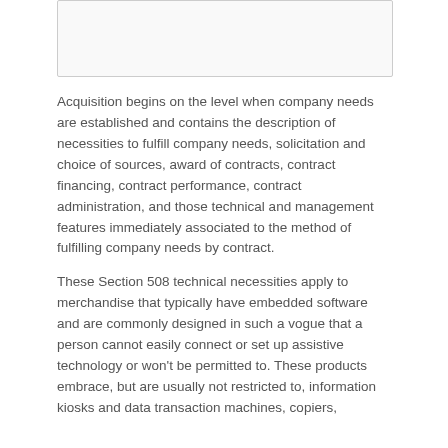[Figure (other): Placeholder image or figure at the top of the page, bordered box.]
Acquisition begins on the level when company needs are established and contains the description of necessities to fulfill company needs, solicitation and choice of sources, award of contracts, contract financing, contract performance, contract administration, and those technical and management features immediately associated to the method of fulfilling company needs by contract.
These Section 508 technical necessities apply to merchandise that typically have embedded software and are commonly designed in such a vogue that a person cannot easily connect or set up assistive technology or won't be permitted to. These products embrace, but are usually not restricted to, information kiosks and data transaction machines, copiers,